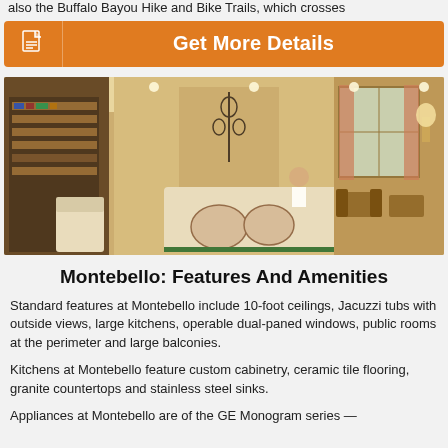also the Buffalo Bayou Hike and Bike Trails, which crosses
[Figure (other): Orange button with document icon and text 'Get More Details']
[Figure (photo): Interior lobby of Montebello luxury apartment building showing reception desk, seating area, and dining area in background with warm lighting]
Montebello: Features And Amenities
Standard features at Montebello include 10-foot ceilings, Jacuzzi tubs with outside views, large kitchens, operable dual-paned windows, public rooms at the perimeter and large balconies.
Kitchens at Montebello feature custom cabinetry, ceramic tile flooring, granite countertops and stainless steel sinks.
Appliances at Montebello are of the GE Monogram series —